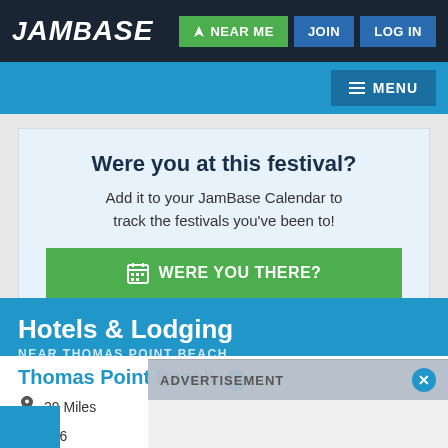JamBase — NEAR ME | JOIN | LOG IN
[Figure (screenshot): JamBase website navigation bar with logo, Near Me, Join, Log In buttons]
Were you at this festival? Add it to your JamBase Calendar to track the festivals you've been to! WERE YOU THERE?
Hotels & Lodging NEAR THOMAS POINT BEACH
Thomas Point Beach
29 M...es
516...
ADVERTISEMENT